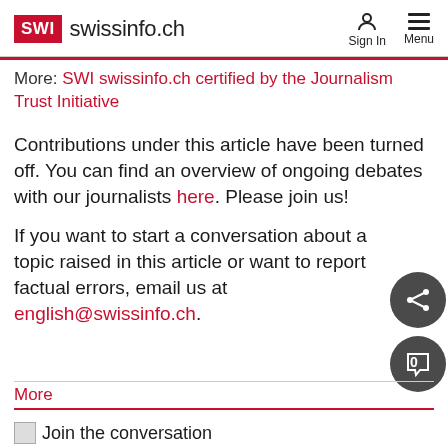SWI swissinfo.ch | Sign In | Menu
More: SWI swissinfo.ch certified by the Journalism Trust Initiative
Contributions under this article have been turned off. You can find an overview of ongoing debates with our journalists here. Please join us!
If you want to start a conversation about a topic raised in this article or want to report factual errors, email us at english@swissinfo.ch.
More
Join the conversation